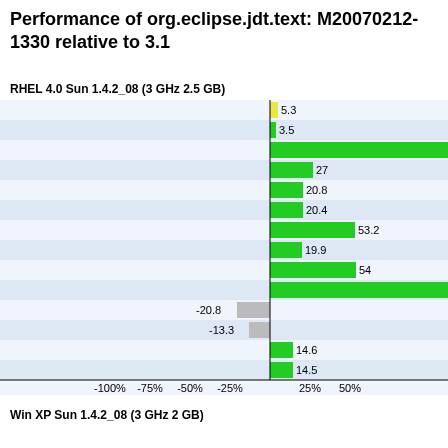Performance of org.eclipse.jdt.text: M20070212-1330 relative to 3.1
RHEL 4.0 Sun 1.4.2_08 (3 GHz 2.5 GB)
[Figure (bar-chart): RHEL 4.0 Sun 1.4.2_08 (3 GHz 2.5 GB)]
Win XP Sun 1.4.2_08 (3 GHz 2 GB)